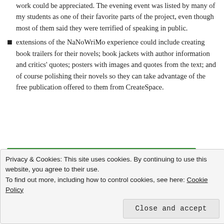work could be appreciated. The evening event was listed by many of my students as one of their favorite parts of the project, even though most of them said they were terrified of speaking in public.
extensions of the NaNoWriMo experience could include creating book trailers for their novels; book jackets with author information and critics' quotes; posters with images and quotes from the text; and of course polishing their novels so they can take advantage of the free publication offered to them from CreateSpace.
[Figure (screenshot): Advertisement banner for WordPress backup plugin with green background, white bold text 'WordPress backup plugin', and a white button 'Back up your site']
Privacy & Cookies: This site uses cookies. By continuing to use this website, you agree to their use.
To find out more, including how to control cookies, see here: Cookie Policy
Close and accept